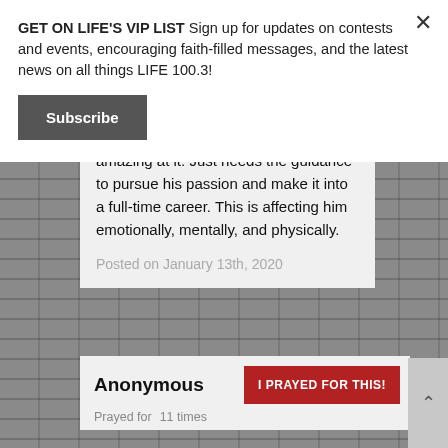GET ON LIFE'S VIP LIST Sign up for updates on contests and events, encouraging faith-filled messages, and the latest news on all things LIFE 100.3!
Subscribe
photography/videography and is truly amazing at it. Just needs the guidance to pursue his passion and make it into a full-time career. This is affecting him emotionally, mentally, and physically.
Posted on January 13th, 2020
Anonymous
I PRAYED FOR THIS!
Prayed for 11 times